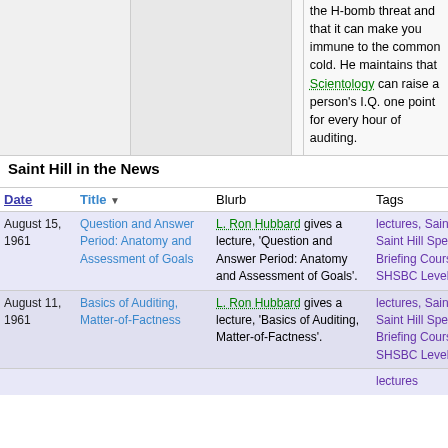the H-bomb threat and that it can make you immune to the common cold. He maintains that Scientology can raise a person's I.Q. one point for every hour of auditing.
Saint Hill in the News
| Date | Title | Blurb | Tags |
| --- | --- | --- | --- |
| August 15, 1961 | Question and Answer Period: Anatomy and Assessment of Goals | L. Ron Hubbard gives a lecture, 'Question and Answer Period: Anatomy and Assessment of Goals'. | lectures, Saint Hill, Saint Hill Special Briefing Course, SHSBC Level E |
| August 11, 1961 | Basics of Auditing, Matter-of-Factness | L. Ron Hubbard gives a lecture, 'Basics of Auditing, Matter-of-Factness'. | lectures, Saint Hill, Saint Hill Special Briefing Course, SHSBC Level E |